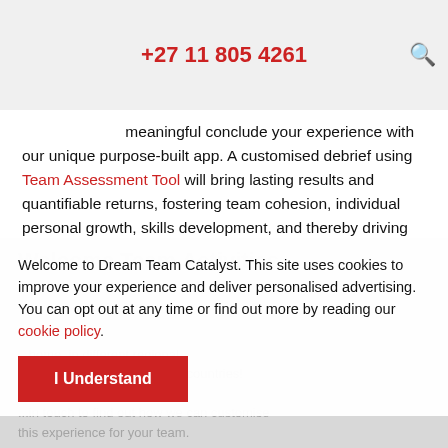+27 11 805 4261
meaningful conclude your experience with our unique purpose-built app. A customised debrief using Team Assessment Tool will bring lasting results and quantifiable returns, fostering team cohesion, individual personal growth, skills development, and thereby driving performance. Find Out More
Welcome to Dream Team Catalyst. This site uses cookies to improve your experience and deliver personalised advertising. You can opt out at any time or find out more by reading our cookie policy.
I Understand